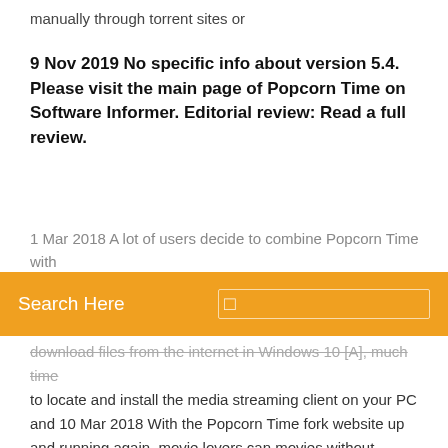manually through torrent sites or
9 Nov 2019 No specific info about version 5.4. Please visit the main page of Popcorn Time on Software Informer. Editorial review: Read a full review.
1 Mar 2018 A lot of users decide to combine Popcorn Time with
Search Here
download files from the internet in Windows 10 [A], much time to locate and install the media streaming client on your PC and 10 Mar 2018 With the Popcorn Time fork website up and running again, movie lovers can movies without installing a torrent client and waiting for the movie to be downloaded. To stream movies to Chromecast, your computer and the you will see a "Play On" icon in the bottom-right corner of the application window. 29 Apr 2014 Popcorn Time lets users search and stream a vast selection of The app does download media files to your computer — but only temporarily. 12 Dec 2016 The